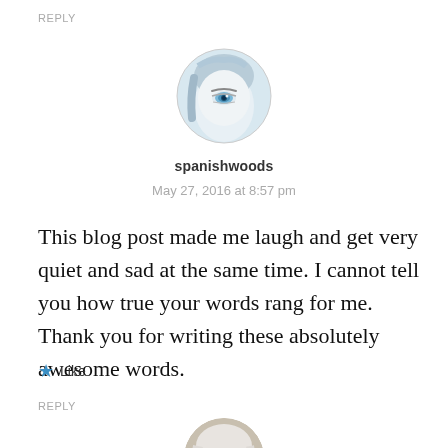REPLY
[Figure (photo): Circular avatar photo of a person with blue eyes and light hair, close-up face shot with a cool blue/white tone]
spanishwoods
May 27, 2016 at 8:57 pm
This blog post made me laugh and get very quiet and sad at the same time. I cannot tell you how true your words rang for me. Thank you for writing these absolutely awesome words.
★ Like
REPLY
[Figure (photo): Circular avatar photo of an older woman with white/grey hair, smiling, partial view at bottom of page]